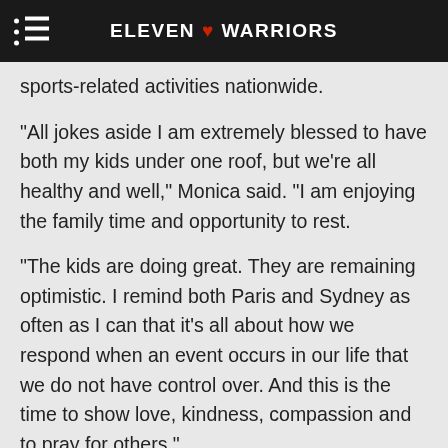ELEVEN ♥ WARRIORS
sports-related activities nationwide.
"All jokes aside I am extremely blessed to have both my kids under one roof, but we're all healthy and well," Monica said. "I am enjoying the family time and opportunity to rest.
"The kids are doing great. They are remaining optimistic. I remind both Paris and Sydney as often as I can that it's all about how we respond when an event occurs in our life that we do not have control over. And this is the time to show love, kindness, compassion and to pray for others."